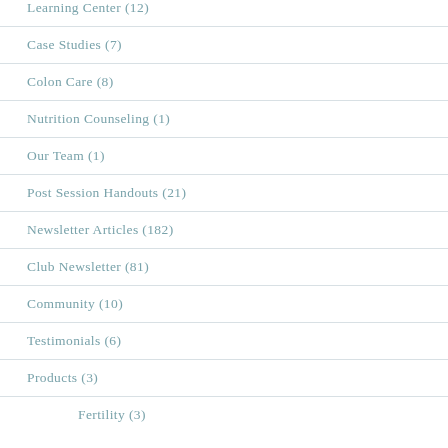Learning Center (12)
Case Studies (7)
Colon Care (8)
Nutrition Counseling (1)
Our Team (1)
Post Session Handouts (21)
Newsletter Articles (182)
Club Newsletter (81)
Community (10)
Testimonials (6)
Products (3)
Fertility (3)